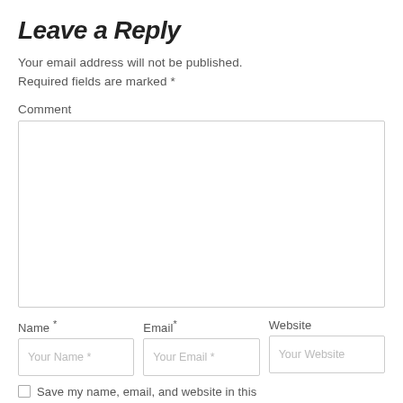Leave a Reply
Your email address will not be published. Required fields are marked *
Comment
[Comment text area]
Name *
Email *
Website
Your Name *
Your Email *
Your Website
Save my name, email, and website in this